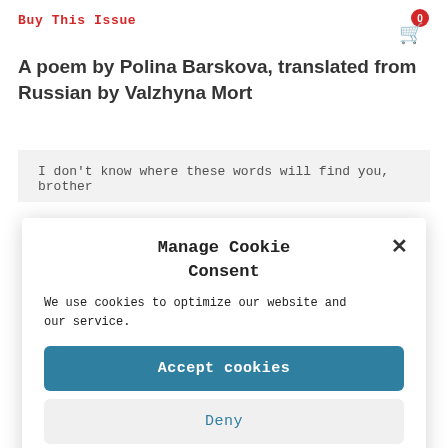Buy This Issue
A poem by Polina Barskova, translated from Russian by Valzhyna Mort
I don't know where these words will find you, brother
Manage Cookie Consent
We use cookies to optimize our website and our service.
Accept cookies
Deny
View preferences